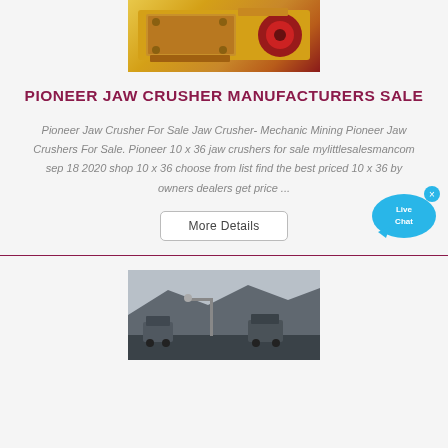[Figure (photo): Yellow and red industrial jaw crusher machine, top portion visible]
PIONEER JAW CRUSHER MANUFACTURERS SALE
Pioneer Jaw Crusher For Sale Jaw Crusher- Mechanic Mining Pioneer Jaw Crushers For Sale. Pioneer 10 x 36 jaw crushers for sale mylittlesalesmancom sep 18 2020 shop 10 x 36 choose from list find the best priced 10 x 36 by owners dealers get price ...
[Figure (illustration): Live Chat bubble widget with blue speech bubble and x close button]
[Figure (photo): Outdoor mining or quarry site with dump trucks and rocky terrain, bottom of page]